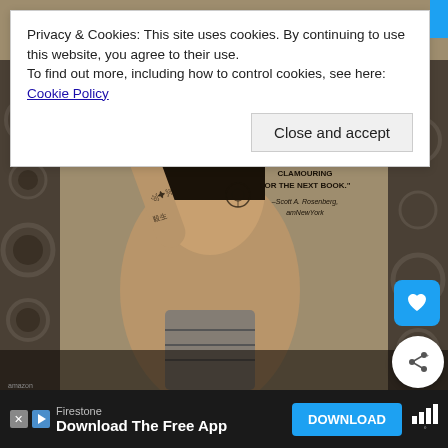[Figure (illustration): Steampunk fantasy book cover showing a woman with tattoos and mechanical face markings, wearing armor, with gears and mechanical elements in background. Quote visible: 'A RIVETING PAGE-TURNER... WILL LEAVE READERS CLAMOURING FOR THE NEXT BOOK.' -Scott A. Rosenberg, amNewYork]
Privacy & Cookies: This site uses cookies. By continuing to use this website, you agree to their use.
To find out more, including how to control cookies, see here: Cookie Policy
Close and accept
Firestone
Download The Free App
DOWNLOAD